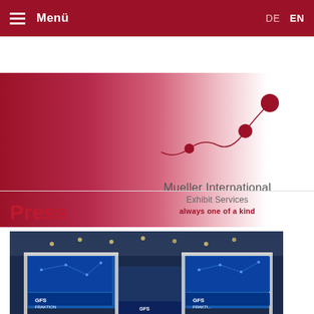≡ Menü   DE  EN
[Figure (logo): Mueller International Exhibit Services logo with wavy line and dots graphic. Text: Mueller International, Exhibit Services, always one of a kind]
Press
[Figure (photo): Exhibition booth photo showing large display structures with blue LED screens and GFS Fraktion branding, viewed from below at a trade show venue]